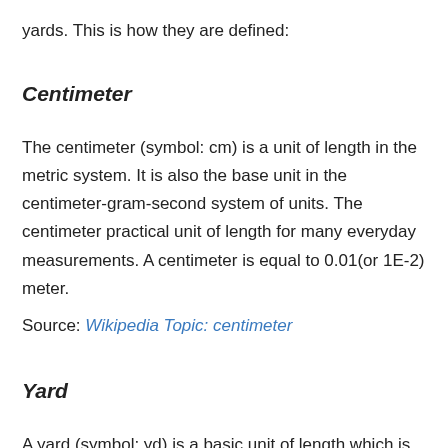yards. This is how they are defined:
Centimeter
The centimeter (symbol: cm) is a unit of length in the metric system. It is also the base unit in the centimeter-gram-second system of units. The centimeter practical unit of length for many everyday measurements. A centimeter is equal to 0.01(or 1E-2) meter.
Source: Wikipedia Topic: centimeter
Yard
A yard (symbol: yd) is a basic unit of length which is commonly used in United States customary units, Imperial units and the former English units. It is equal to 3...